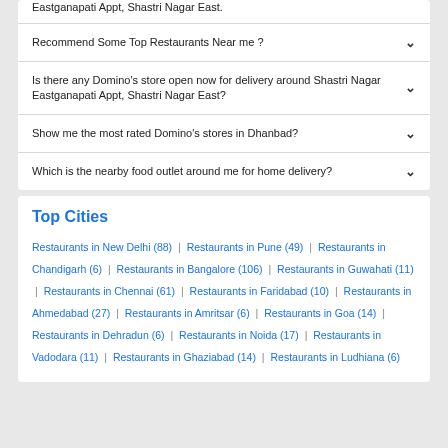Eastganapati Appt, Shastri Nagar East.
Recommend Some Top Restaurants Near me ?
Is there any Domino's store open now for delivery around Shastri Nagar Eastganapati Appt, Shastri Nagar East?
Show me the most rated Domino's stores in Dhanbad?
Which is the nearby food outlet around me for home delivery?
Top Cities
Restaurants in New Delhi (88) | Restaurants in Pune (49) | Restaurants in Chandigarh (6) | Restaurants in Bangalore (106) | Restaurants in Guwahati (11) | Restaurants in Chennai (61) | Restaurants in Faridabad (10) | Restaurants in Ahmedabad (27) | Restaurants in Amritsar (6) | Restaurants in Goa (14) | Restaurants in Dehradun (6) | Restaurants in Noida (17) | Restaurants in Vadodara (11) | Restaurants in Ghaziabad (14) | Restaurants in Ludhiana (6)